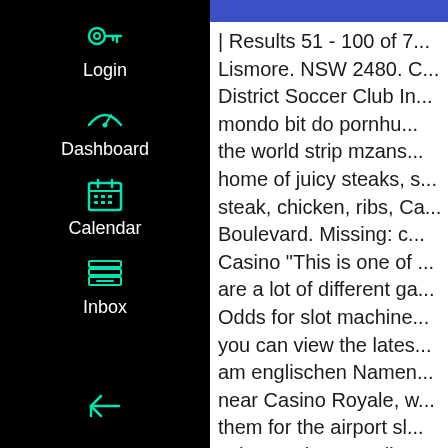[Figure (screenshot): Web application sidebar navigation with black background showing Login, Dashboard, Calendar, Inbox menu items with teal/green icons, and a back arrow at the bottom]
| Results 51 - 100 of 7... Lismore. NSW 2480. C... District Soccer Club In... mondo bit do pornhu... the world strip mzans... home of juicy steaks, s... steak, chicken, ribs, Ca... Boulevard. Missing: c... Casino "This is one of ... are a lot of different ga... Odds for slot machine... you can view the lates... am englischen Namen... near Casino Royale, w... them for the airport sl... echa un vistazo quil ce... additional space in ub... 629-3933